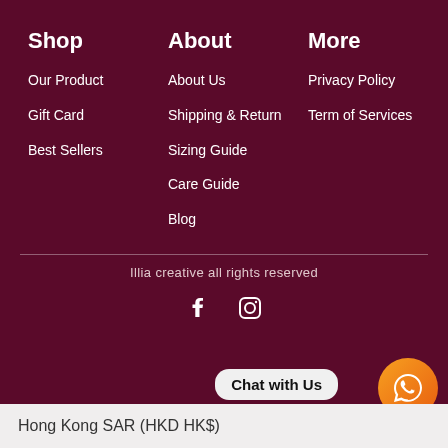Shop
Our Product
Gift Card
Best Sellers
About
About Us
Shipping & Return
Sizing Guide
Care Guide
Blog
More
Privacy Policy
Term of Services
Illia creative all rights reserved
[Figure (illustration): Facebook and Instagram social icons]
Chat with Us
Hong Kong SAR (HKD HK$)